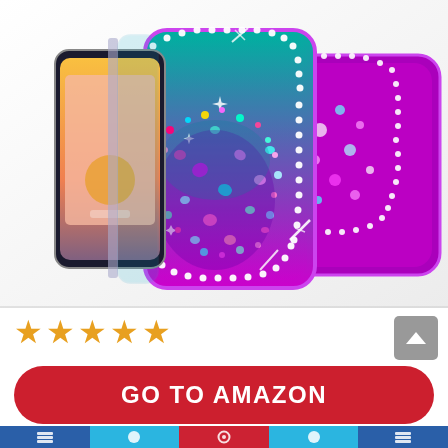[Figure (photo): Product photo of glitter liquid phone cases for LG device — two phone cases with teal-to-purple gradient and rhinestone trim containing colorful floating glitter/confetti inside a clear liquid. A phone is shown alongside the cases.]
[Figure (other): Five orange star rating icons representing a 5-star rating]
[Figure (other): Gray scroll-up button with upward chevron arrow]
GO TO AMAZON
Amazon.com
[Figure (other): Bottom navigation bar with colored segments in blue, cyan, red, cyan, blue]